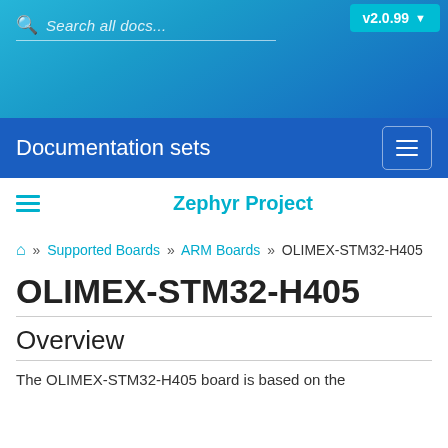Search all docs...  v2.0.99
Documentation sets
Zephyr Project
⌂ » Supported Boards » ARM Boards » OLIMEX-STM32-H405
OLIMEX-STM32-H405
Overview
The OLIMEX-STM32-H405 board is based on the